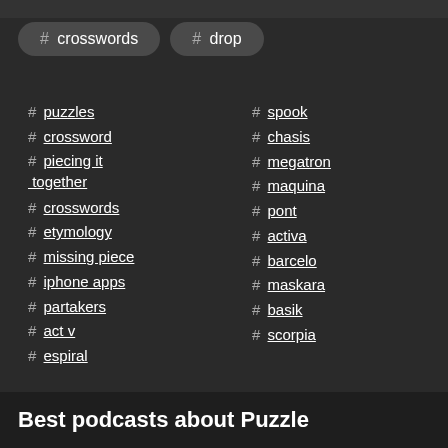# crosswords
# drop
# puzzles
# crossword
# piecing it together
# crosswords
# etymology
# missing piece
# iphone apps
# partakers
# act v
# espiral
# spook
# chasis
# megatron
# maquina
# pont
# activa
# barcelo
# maskara
# basik
# scorpia
Best podcasts about Puzzle